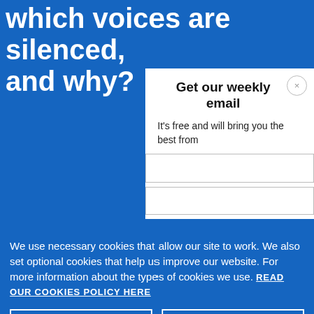which voices are silenced, and why?
Get our weekly email
It's free and will bring you the best from
We use necessary cookies that allow our site to work. We also set optional cookies that help us improve our website. For more information about the types of cookies we use. READ OUR COOKIES POLICY HERE
COOKIE SETTINGS
ALLOW ALL COOKIES
data.
oD comme